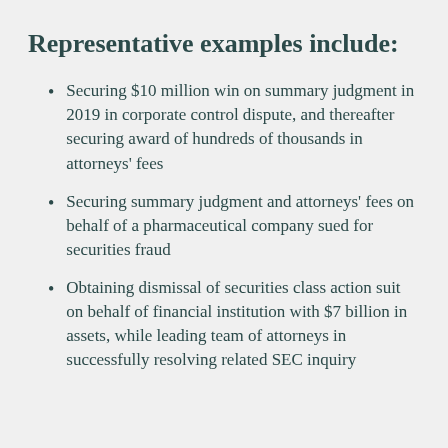Representative examples include:
Securing $10 million win on summary judgment in 2019 in corporate control dispute, and thereafter securing award of hundreds of thousands in attorneys' fees
Securing summary judgment and attorneys' fees on behalf of a pharmaceutical company sued for securities fraud
Obtaining dismissal of securities class action suit on behalf of financial institution with $7 billion in assets, while leading team of attorneys in successfully resolving related SEC inquiry